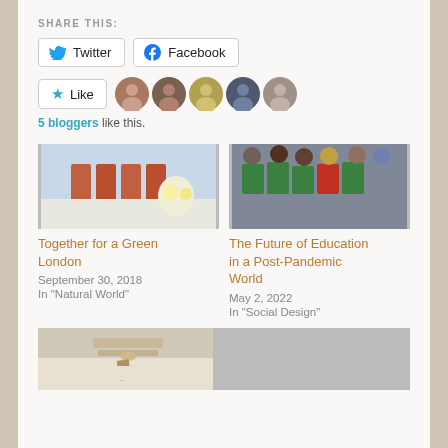SHARE THIS:
Twitter  Facebook
Like  [5 blogger avatars]
5 bloggers like this.
[Figure (photo): Building with arched windows and white daisy flowers in foreground]
Together for a Green London
September 30, 2018
In "Natural World"
[Figure (photo): Group of people holding green SDG signs at an event]
The Future of Education in a Post-Pandemic World
May 2, 2022
In "Social Design"
[Figure (photo): Person writing in a notebook on a desk]